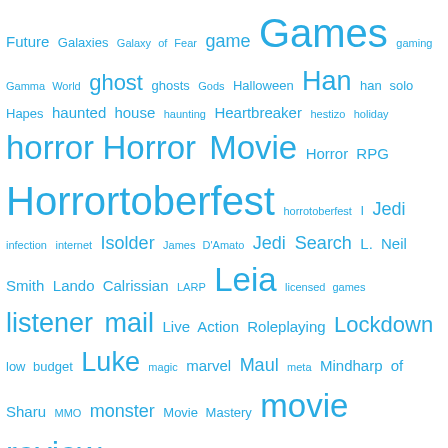[Figure (other): Tag cloud with various terms in different sizes all in cyan/blue color, related to games, sci-fi, horror, Star Wars, RPG, podcasts, and other topics.]